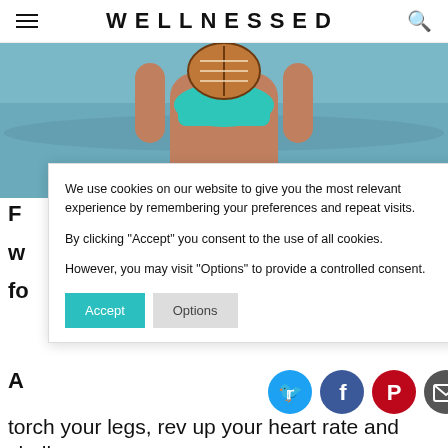WELLNESSED
[Figure (photo): Woman in teal bikini holding a football at the beach, ocean in background]
We use cookies on our website to give you the most relevant experience by remembering your preferences and repeat visits.

By clicking "Accept" you consent to the use of all cookies.

However, you may visit "Options" to provide a controlled consent.
Accept   Options
[Figure (infographic): Social share icons: Twitter (blue circle), Facebook (dark blue circle), Pinterest (red circle), Email (dark grey circle)]
torch your legs, rev up your heart rate and challenge